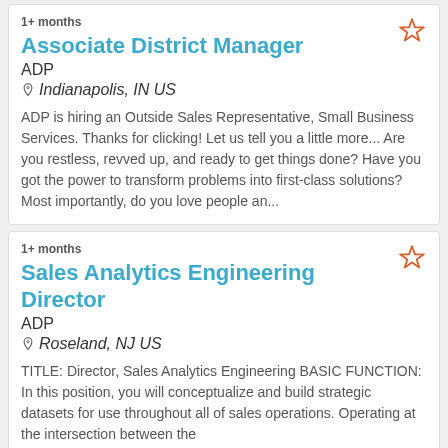1+ months
Associate District Manager
ADP
Indianapolis, IN US
ADP is hiring an Outside Sales Representative, Small Business Services. Thanks for clicking! Let us tell you a little more... Are you restless, revved up, and ready to get things done? Have you got the power to transform problems into first-class solutions? Most importantly, do you love people an...
1+ months
Sales Analytics Engineering Director
ADP
Roseland, NJ US
TITLE: Director, Sales Analytics Engineering BASIC FUNCTION: In this position, you will conceptualize and build strategic datasets for use throughout all of sales operations. Operating at the intersection between the